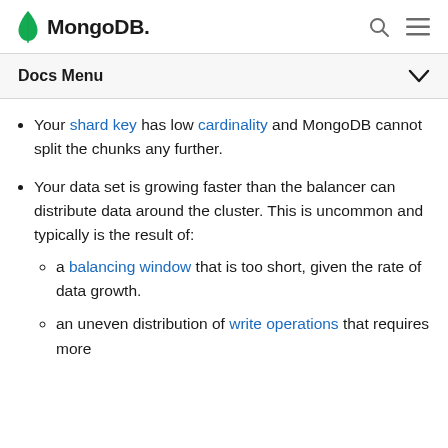MongoDB — navigation header with search and menu icons
Docs Menu
Your shard key has low cardinality and MongoDB cannot split the chunks any further.
Your data set is growing faster than the balancer can distribute data around the cluster. This is uncommon and typically is the result of: a balancing window that is too short, given the rate of data growth. an uneven distribution of write operations that requires more
a balancing window that is too short, given the rate of data growth.
an uneven distribution of write operations that requires more